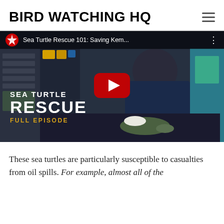BIRD WATCHING HQ
[Figure (screenshot): YouTube video thumbnail showing a person in blue scrubs and gloves treating a small sea turtle on a dark surface. Title overlay reads 'SEA TURTLE RESCUE FULL EPISODE'. YouTube title bar shows 'Sea Turtle Rescue 101: Saving Kem...' with YouTube logo. A red YouTube play button is centered on the image.]
These sea turtles are particularly susceptible to casualties from oil spills. For example, almost all of the